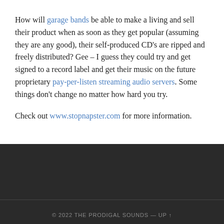How will garage bands be able to make a living and sell their product when as soon as they get popular (assuming they are any good), their self-produced CD's are ripped and freely distributed? Gee – I guess they could try and get signed to a record label and get their music on the future proprietary pay-per-listen streaming audio servers. Some things don't change no matter how hard you try.
Check out www.stopnapster.com for more information.
© 2022 THE PRODIGAL SOUNDS — UP ↑